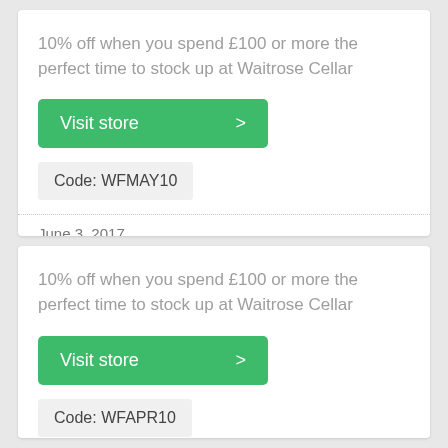10% off when you spend £100 or more the perfect time to stock up at Waitrose Cellar
Visit store >
Code: WFMAY10
June 3, 2017
10% off when you spend £100 or more the perfect time to stock up at Waitrose Cellar
Visit store >
Code: WFAPR10